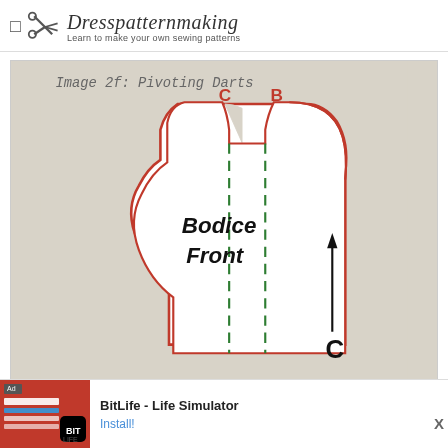Dresspatternmaking — Learn to make your own sewing patterns
[Figure (illustration): Sewing pattern diagram labeled 'Image 2f: Pivoting Darts'. Shows a bodice front pattern piece outlined in red with labels B and C at the top shoulder area in red text. Two green dashed lines run vertically through the pattern piece. A black vertical arrow on the right side points upward, with a bold C label at the bottom right. The pattern piece is labeled 'Bodice Front' in large handwritten-style text.]
Image 2f: Pivoting Darts
BitLife - Life Simulator
Install!